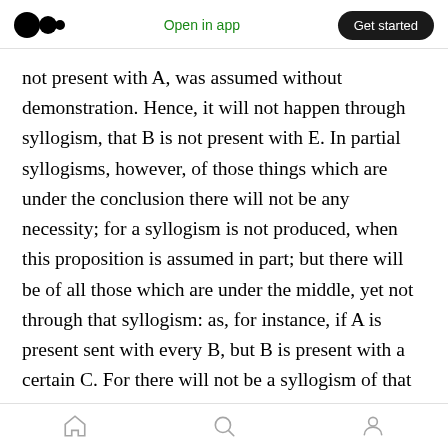Medium logo | Open in app | Get started
not present with A, was assumed without demonstration. Hence, it will not happen through syllogism, that B is not present with E. In partial syllogisms, however, of those things which are under the conclusion there will not be any necessity; for a syllogism is not produced, when this proposition is assumed in part; but there will be of all those which are under the middle, yet not through that syllogism: as, for instance, if A is present sent with every B, but B is present with a certain C. For there will not be a syllogism of that which is posited under C; but
Home | Search | Profile